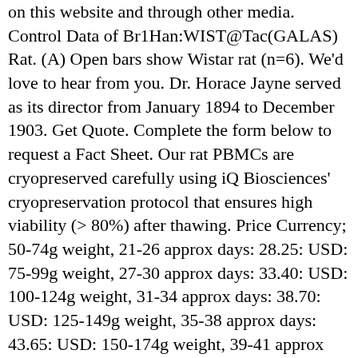on this website and through other media. Control Data of Br1Han:WIST@Tac(GALAS) Rat. (A) Open bars show Wistar rat (n=6). We'd love to hear from you. Dr. Horace Jayne served as its director from January 1894 to December 1903. Get Quote. Complete the form below to request a Fact Sheet. Our rat PBMCs are cryopreserved carefully using iQ Biosciences' cryopreservation protocol that ensures high viability (> 80%) after thawing. Price Currency; 50-74g weight, 21-26 approx days: 28.25: USD: 75-99g weight, 27-30 approx days: 33.40: USD: 100-124g weight, 31-34 approx days: 38.70: USD: 125-149g weight, 35-38 approx days: 43.65: USD: 150-174g weight, 39-41 approx days: 48.65: USD: 175-199g weight, 42-49 approx days: 52.25: USD: 200-224g weight, 50-56 approx days: 55.85: USD: 225-249g weight, 57-63 approx … View More. How to Raise a Wistar Rat? Callisto. They are also used in immunology as models for infectious diseases and autoimmune responses. Wistar may refer to:. Wistar rat